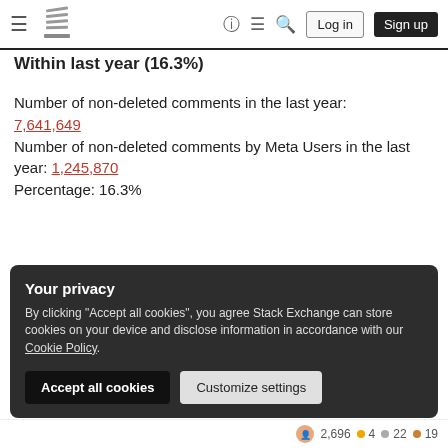Stack Exchange navigation bar with hamburger menu, logo, help, chat, search icons, Log in and Sign up buttons
Within last year (16.3%)
Number of non-deleted comments in the last year: 7,641,649
Number of non-deleted comments by Meta Users in the last year: 1,245,870
Percentage: 16.3%
f), g) If someone knows a way to get a percentage of reviews or flags, feel free to comment or edit that in.
Your privacy
By clicking "Accept all cookies", you agree Stack Exchange can store cookies on your device and disclose information in accordance with our Cookie Policy.
Accept all cookies  Customize settings
2,696 ● 4 ● 22 ● 19